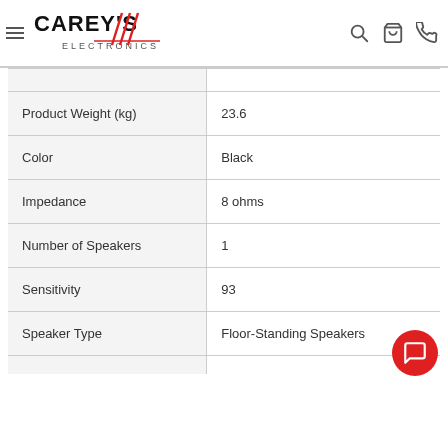Carey's Electronics - navigation header with logo, search, cart, and phone icons
| Attribute | Value |
| --- | --- |
| Product Weight (kg) | 23.6 |
| Color | Black |
| Impedance | 8 ohms |
| Number of Speakers | 1 |
| Sensitivity | 93 |
| Speaker Type | Floor-Standing Speakers |